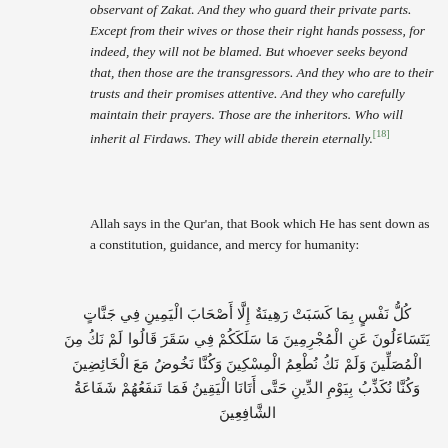observant of Zakat. And they who guard their private parts. Except from their wives or those their right hands possess, for indeed, they will not be blamed. But whoever seeks beyond that, then those are the transgressors. And they who are to their trusts and their promises attentive. And they who carefully maintain their prayers. Those are the inheritors. Who will inherit al Firdaws. They will abide therein eternally.[18]
Allah says in the Qur'an, that Book which He has sent down as a constitution, guidance, and mercy for humanity:
كُلُّ نَفْسٍ بِمَا كَسَبَتْ رَهِينَةٌ إِلَّا أَصْحَابَ الْيَمِينِ فِي جَنَّاتٍ يَتَسَاءَلُونَ عَنِ الْمُجْرِمِينَ مَا سَلَكَكُمْ فِي سَقَرَ قَالُوا لَمْ نَكُ مِنَ الْمُصَلِّينَ وَلَمْ نَكُ نُطْعِمُ الْمِسْكِينَ وَكُنَّا نَخُوضُ مَعَ الْخَائِضِينَ وَكُنَّا نُكَذِّبُ بِيَوْمِ الدِّينِ حَتَّى أَتَانَا الْيَقِينُ فَمَا تَنفَعُهُمْ شَفَاعَةُ الشَّافِعِينَ